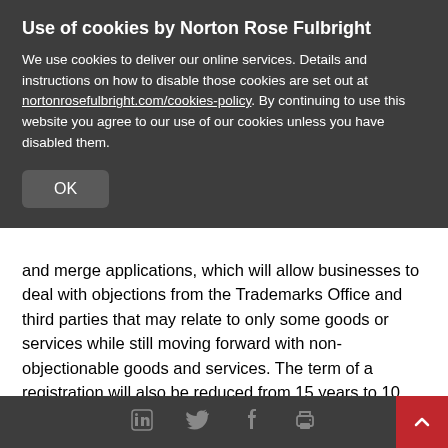Use of cookies by Norton Rose Fulbright
We use cookies to deliver our online services. Details and instructions on how to disable those cookies are set out at nortonrosefulbright.com/cookies-policy. By continuing to use this website you agree to our use of our cookies unless you have disabled them.
and merge applications, which will allow businesses to deal with objections from the Trademarks Office and third parties that may relate to only some goods or services while still moving forward with non-objectionable goods and services. The term of a registration will also be reduced from 15 years to 10 years.
Additional fees
LinkedIn Twitter Facebook Print | Back to top